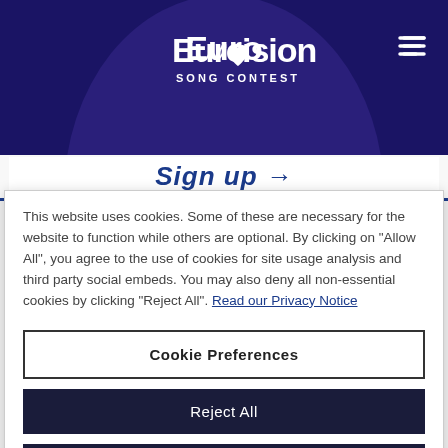[Figure (logo): Eurovision Song Contest logo — stylized text with heart in the O, white on dark navy background]
Sign up →
This website uses cookies. Some of these are necessary for the website to function while others are optional. By clicking on "Allow All", you agree to the use of cookies for site usage analysis and third party social embeds. You may also deny all non-essential cookies by clicking "Reject All". Read our Privacy Notice
Cookie Preferences
Reject All
Allow All